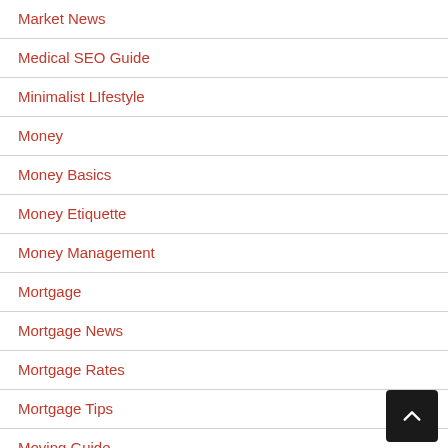Market News
Medical SEO Guide
Minimalist LIfestyle
Money
Money Basics
Money Etiquette
Money Management
Mortgage
Mortgage News
Mortgage Rates
Mortgage Tips
Moving Guide
Paying Off Debts